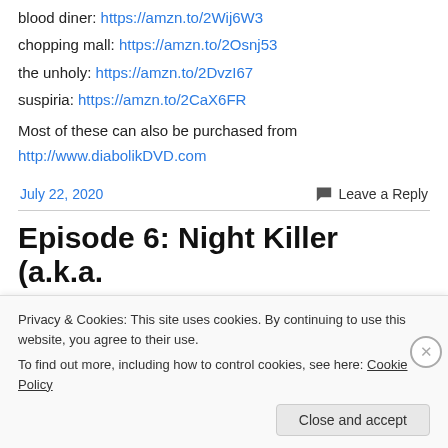blood diner: https://amzn.to/2Wij6W3
chopping mall: https://amzn.to/2Osnj53
the unholy: https://amzn.to/2DvzI67
suspiria: https://amzn.to/2CaX6FR
Most of these can also be purchased from http://www.diabolikDVD.com
July 22, 2020
Leave a Reply
Episode 6: Night Killer (a.k.a.
Privacy & Cookies: This site uses cookies. By continuing to use this website, you agree to their use. To find out more, including how to control cookies, see here: Cookie Policy
Close and accept